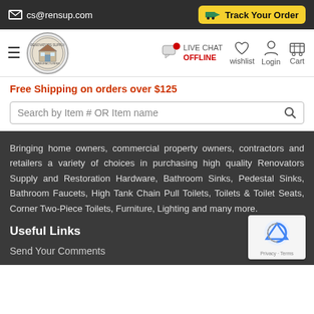cs@rensup.com | Track Your Order
[Figure (screenshot): Renovators Supply Manufacturing logo — circular seal with house illustration]
Live Chat OFFLINE | wishlist | Login | Cart
Free Shipping on orders over $125
Search by Item # OR Item name
Bringing home owners, commercial property owners, contractors and retailers a variety of choices in purchasing high quality Renovators Supply and Restoration Hardware, Bathroom Sinks, Pedestal Sinks, Bathroom Faucets, High Tank Chain Pull Toilets, Toilets & Toilet Seats, Corner Two-Piece Toilets, Furniture, Lighting and many more.
Useful Links
Send Your Comments